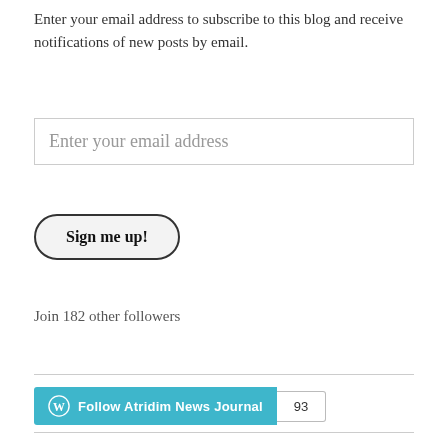Enter your email address to subscribe to this blog and receive notifications of new posts by email.
[Figure (screenshot): Email input field with placeholder text 'Enter your email address']
[Figure (screenshot): Sign me up! button with rounded pill shape and dark border]
Join 182 other followers
[Figure (screenshot): WordPress Follow button for Atridim News Journal with follower count badge showing 93]
Privacy & Cookies: This site uses cookies. By continuing to use this website, you agree to their use.
To find out more, including how to control cookies, see here: Cookie Policy
[Figure (screenshot): Close and accept button]